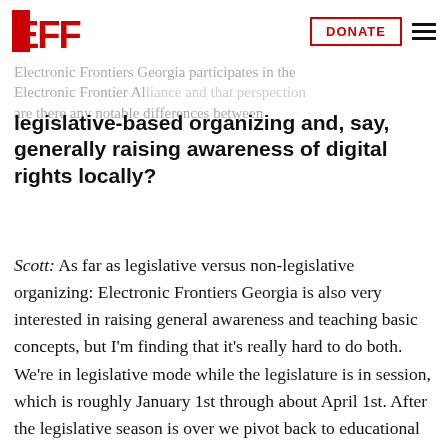EFF | DONATE
Electronic Frontiers Georgia participates in the Electronic Frontier Alliance and that perspective are there any notable differences between
legislative-based organizing and, say, generally raising awareness of digital rights locally?
Scott: As far as legislative versus non-legislative organizing: Electronic Frontiers Georgia is also very interested in raising general awareness and teaching basic concepts, but I'm finding that it's really hard to do both. We're in legislative mode while the legislature is in session, which is roughly January 1st through about April 1st. After the legislative season is over we pivot back to educational and social mode. It's good to do both, but it can be very difficult to do both at the same time. Groups that are actively doing activism at the state level shouldn't beat themselves up if they're not able to keep the same educational schedule up